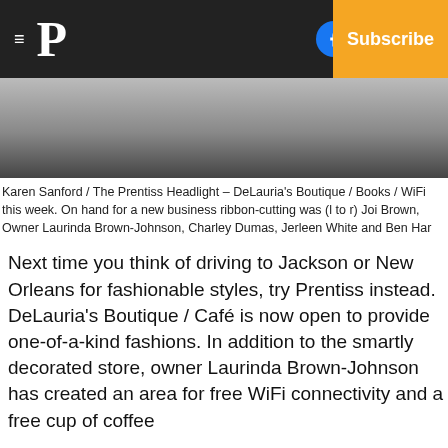≡ P  [Facebook] [Twitter] [Email]  Subscribe
[Figure (photo): Photo of DeLauria's Boutique ribbon-cutting event, partially visible at top]
Karen Sanford / The Prentiss Headlight – DeLauria's Boutique / Books / WiFi this week. On hand for a new business ribbon-cutting was (l to r) Joi Brown, Owner Laurinda Brown-Johnson, Charley Dumas, Jerleen White and Ben Har
Next time you think of driving to Jackson or New Orleans for fashionable styles, try Prentiss instead. DeLauria's Boutique / Café is now open to provide one-of-a-kind fashions. In addition to the smartly decorated store, owner Laurinda Brown-Johnson has created an area for free WiFi connectivity and a free cup of coffee
The store specializes in semi-formal and formal wear and only one copy of each design. As Brown-Johnson does not purchase more for the area, she promises no one will be wearing the same outfit. The store itself has been completed renovated; a wall of the latest high-heeled shoes could be mistaken for art rather than elega